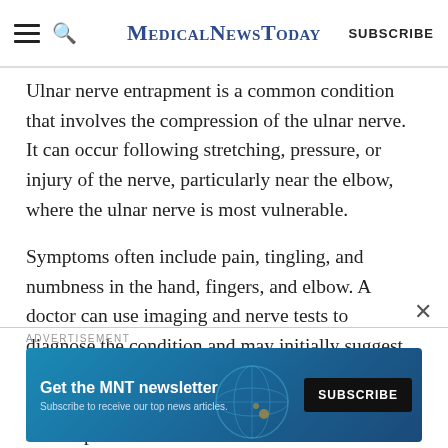MedicalNewsToday
Ulnar nerve entrapment is a common condition that involves the compression of the ulnar nerve. It can occur following stretching, pressure, or injury of the nerve, particularly near the elbow, where the ulnar nerve is most vulnerable.
Symptoms often include pain, tingling, and numbness in the hand, fingers, and elbow. A doctor can use imaging and nerve tests to diagnose the condition and may initially suggest nonsurgical treatments such as braces or splints. In more severe cases, surgery may be necessary to relieve pressure on the nerve.
[Figure (infographic): Advertisement banner: 'Get the MNT newsletter' with subscribe button and globe graphic]